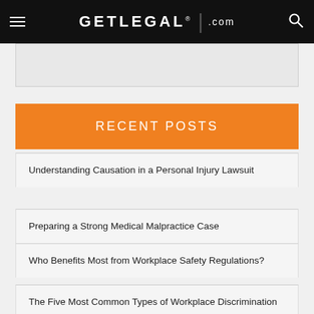GETLEGAL .com
RECENT POSTS
Understanding Causation in a Personal Injury Lawsuit
Preparing a Strong Medical Malpractice Case
Who Benefits Most from Workplace Safety Regulations?
The Five Most Common Types of Workplace Discrimination
When Do You Need a Wrongful Termination